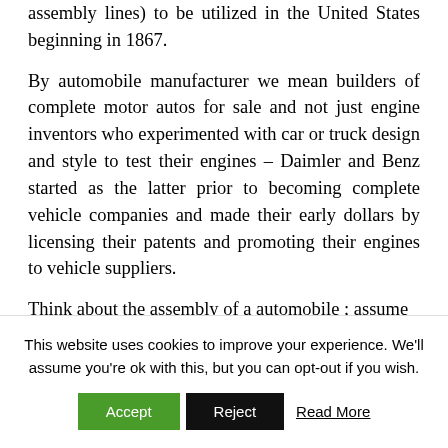assembly lines) to be utilized in the United States beginning in 1867.
By automobile manufacturer we mean builders of complete motor autos for sale and not just engine inventors who experimented with car or truck design and style to test their engines – Daimler and Benz started as the latter prior to becoming complete vehicle companies and made their early dollars by licensing their patents and promoting their engines to vehicle suppliers.
Think about the assembly of a automobile ; assume
This website uses cookies to improve your experience. We'll assume you're ok with this, but you can opt-out if you wish.
Accept  Reject  Read More